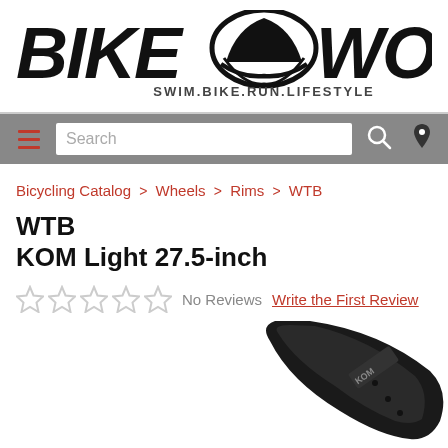[Figure (logo): Bike Works logo with mountain/swoosh emblem and tagline SWIM.BIKE.RUN.LIFESTYLE]
[Figure (screenshot): Navigation bar with hamburger menu (red), search box, search icon, and location pin icon on grey background]
Bicycling Catalog > Wheels > Rims > WTB
WTB KOM Light 27.5-inch
No Reviews   Write the First Review
[Figure (photo): Close-up photo of a black WTB KOM bicycle rim against white background, showing the rim profile at an angle]